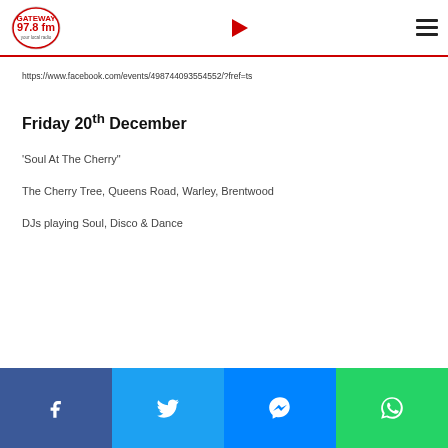[Figure (logo): Gateway 97.8 FM radio logo]
https://www.facebook.com/events/498744093554552/?fref=ts
Friday 20th December
‘Soul At The Cherry”
The Cherry Tree, Queens Road, Warley, Brentwood
DJs playing Soul, Disco & Dance